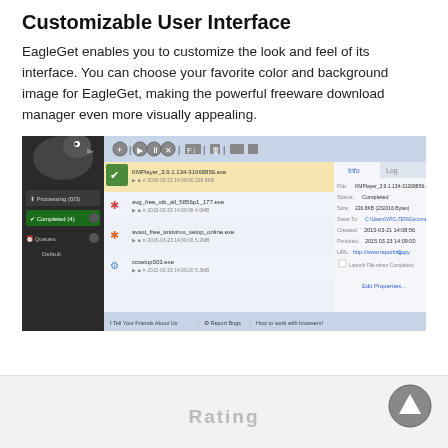Customizable User Interface
EagleGet enables you to customize the look and feel of its interface. You can choose your favorite color and background image for EagleGet, making the powerful freeware download manager even more visually appealing.
[Figure (screenshot): Screenshot of EagleGet download manager application showing its customizable dark-themed sidebar interface with a list of downloaded files and an info panel on the right. The bottom bar shows links to Tell Your Friends About Us, Report Bugs, and How to work with browsers.]
Rating